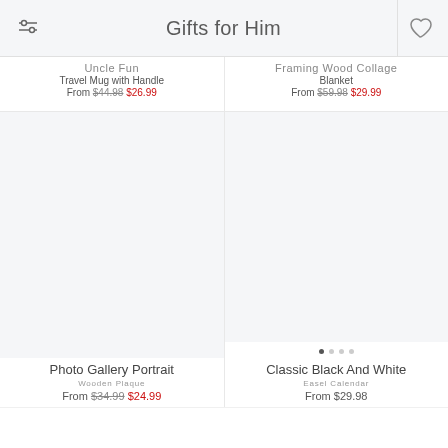Gifts for Him
Uncle Fun
Travel Mug with Handle
From $44.98 $26.99
Framing Wood Collage
Blanket
From $59.98 $29.99
Photo Gallery Portrait
Wooden Plaque
From $34.99 $24.99
Classic Black And White
Easel Calendar
From $29.98